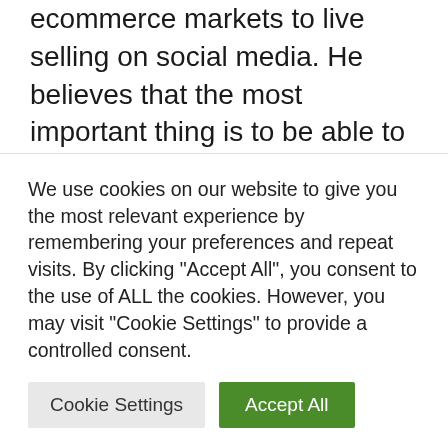ecommerce markets to live selling on social media. He believes that the most important thing is to be able to reach where customers are most effective and to provide more points of contact to interact with them.
“Of course, I still believe that the human connection cannot be completely replaced by technology, and this is something that retail stores can triumph at. Whether you are
We use cookies on our website to give you the most relevant experience by remembering your preferences and repeat visits. By clicking “Accept All”, you consent to the use of ALL the cookies. However, you may visit "Cookie Settings" to provide a controlled consent.